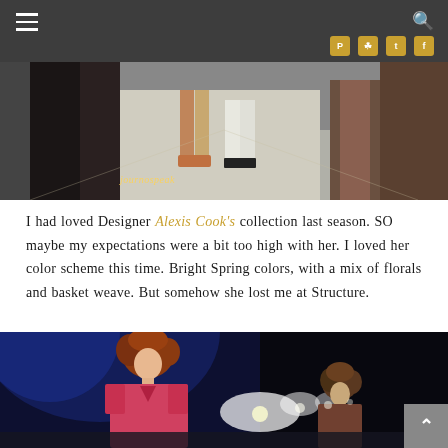Navigation header with hamburger menu, search icon, and social media icons (Pinterest, Instagram, Twitter, Facebook)
[Figure (photo): Fashion runway photo showing models' legs and shoes walking on a light-colored runway. Watermark text 'journospeak' visible in golden italic text.]
I had loved Designer Alexis Cook's collection last season. SO maybe my expectations were a bit too high with her. I loved her color scheme this time. Bright Spring colors, with a mix of florals and basket weave. But somehow she lost me at Structure.
[Figure (photo): Fashion show photo showing models on a runway stage with dramatic blue and white stage lighting, dark background. A model with curly red hair in a pink/red top is prominently featured in the foreground.]